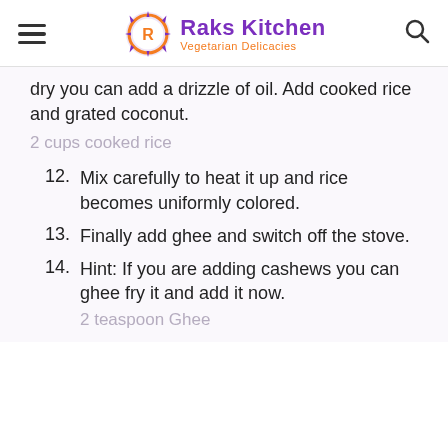Raks Kitchen – Vegetarian Delicacies
dry you can add a drizzle of oil. Add cooked rice and grated coconut.
2 cups cooked rice
12. Mix carefully to heat it up and rice becomes uniformly colored.
13. Finally add ghee and switch off the stove.
14. Hint: If you are adding cashews you can ghee fry it and add it now.
2 teaspoon Ghee